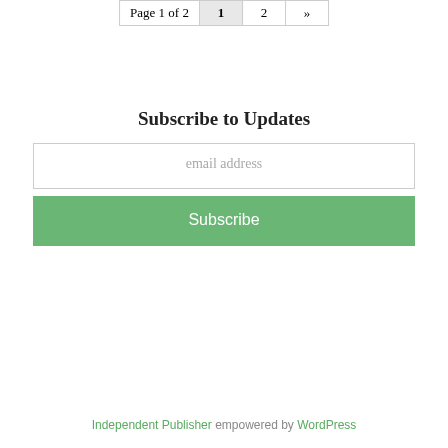Page 1 of 2  1  2  »
Subscribe to Updates
email address
Subscribe
Independent Publisher empowered by WordPress